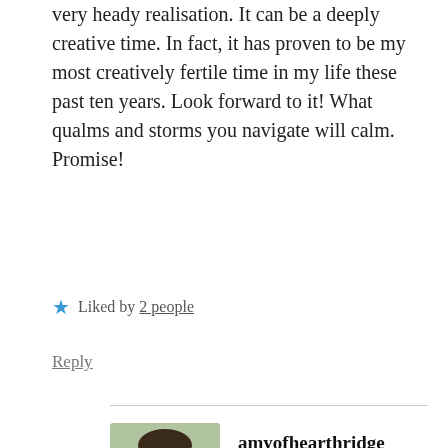very heady realisation. It can be a deeply creative time. In fact, it has proven to be my most creatively fertile time in my life these past ten years. Look forward to it! What qualms and storms you navigate will calm. Promise!
★ Liked by 2 people
Reply
amyofhearthridge
AUGUST 2, 2020 AT 12:16 PM
Thank you so much for sharing your experience. You have given me food for thought! I really appreciate all the wisdom that women can share with one another 🧡